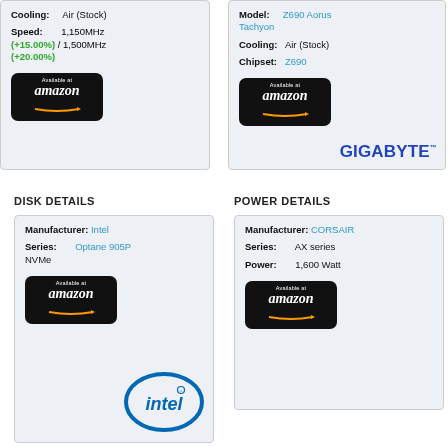Cooling: Air (Stock)
Speed: 1,150MHz (+15.00%) / 1,500MHz (+20.00%)
[Figure (logo): Available at Amazon button (top left card)]
Model: Z690 Aorus Tachyon
Cooling: Air (Stock)
Chipset: Z690
[Figure (logo): Available at Amazon button (top right card)]
[Figure (logo): GIGABYTE logo]
DISK DETAILS
POWER DETAILS
Manufacturer: Intel
Series: Optane 905P NVMe
[Figure (logo): Available at Amazon button (bottom left card)]
[Figure (logo): Intel logo]
Manufacturer: CORSAIR
Series: AX series
Power: 1,600 Watt
[Figure (logo): Available at Amazon button (bottom right card)]